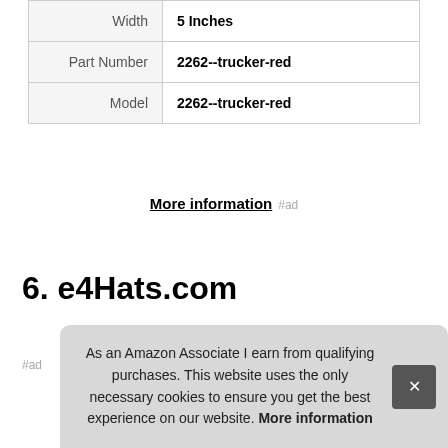|  |  |
| --- | --- |
| Width | 5 Inches |
| Part Number | 2262--trucker-red |
| Model | 2262--trucker-red |
More information #ad
6. e4Hats.com
#ad
As an Amazon Associate I earn from qualifying purchases. This website uses the only necessary cookies to ensure you get the best experience on our website. More information